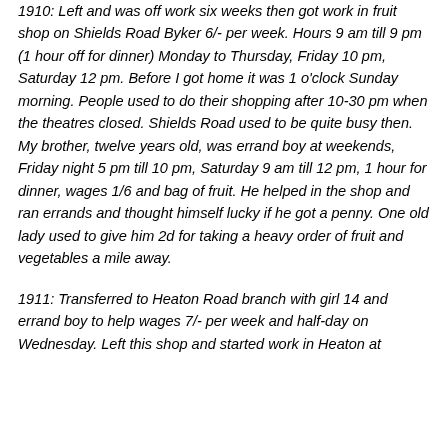1910: Left and was off work six weeks then got work in fruit shop on Shields Road Byker 6/- per week. Hours 9 am till 9 pm (1 hour off for dinner) Monday to Thursday, Friday 10 pm, Saturday 12 pm. Before I got home it was 1 o'clock Sunday morning. People used to do their shopping after 10-30 pm when the theatres closed. Shields Road used to be quite busy then. My brother, twelve years old, was errand boy at weekends, Friday night 5 pm till 10 pm, Saturday 9 am till 12 pm, 1 hour for dinner, wages 1/6 and bag of fruit. He helped in the shop and ran errands and thought himself lucky if he got a penny. One old lady used to give him 2d for taking a heavy order of fruit and vegetables a mile away.
1911: Transferred to Heaton Road branch with girl 14 and errand boy to help wages 7/- per week and half-day on Wednesday. Left this shop and started work in Heaton at